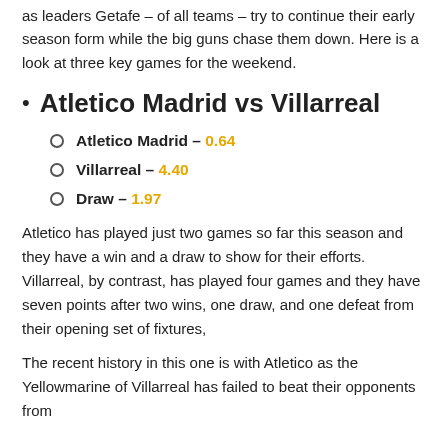as leaders Getafe – of all teams – try to continue their early season form while the big guns chase them down. Here is a look at three key games for the weekend.
Atletico Madrid vs Villarreal
Atletico Madrid – 0.64
Villarreal – 4.40
Draw – 1.97
Atletico has played just two games so far this season and they have a win and a draw to show for their efforts. Villarreal, by contrast, has played four games and they have seven points after two wins, one draw, and one defeat from their opening set of fixtures,
The recent history in this one is with Atletico as the Yellowmarine of Villarreal has failed to beat their opponents from